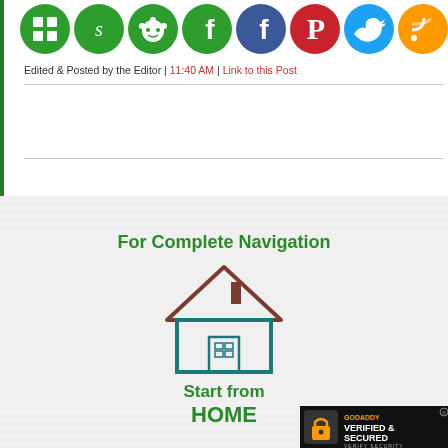[Figure (illustration): Row of social media icons on green circles: ShareThis, StumbleUpon, Reddit, Facebook, Facebook, Pinterest, Twitter, RSS, Instagram]
Edited & Posted by the Editor | 11:40 AM | Link to this Post
For Complete Navigation
[Figure (illustration): House icon with brown roof and teal walls]
Start from HOME
[Figure (logo): GoDaddy Verified & Secured badge]